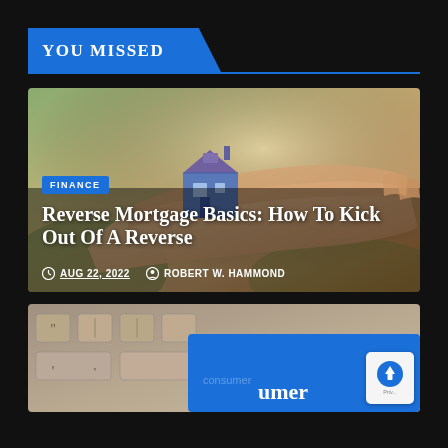YOU MISSED
[Figure (photo): Article card showing hands holding a miniature house, overlaid with article title, finance badge, date and author]
Reverse Mortgage Basics: How To Kick Out Of A Reverse
AUG 22, 2022  ROBERT W. HAMMOND
[Figure (photo): Partial article card showing a computer keyboard with a blue credit card labelled consumer, and a scroll-to-top button in the bottom right corner]